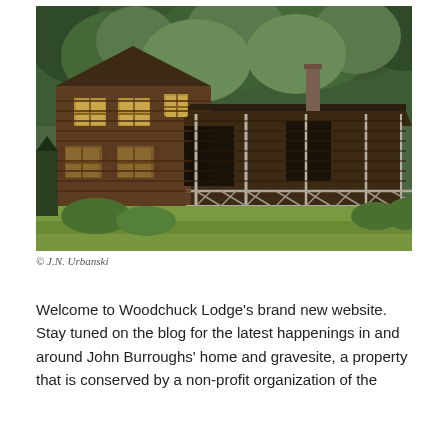[Figure (photo): Exterior photograph of Woodchuck Lodge, a rustic brown wooden building with a wrap-around porch and rustic railing, surrounded by green lawn and dense forest in the background.]
© J.N. Urbanski
Welcome to Woodchuck Lodge's brand new website. Stay tuned on the blog for the latest happenings in and around John Burroughs' home and gravesite, a property that is conserved by a non-profit organization of the